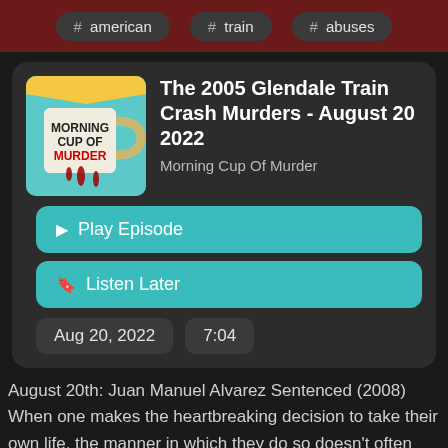# american
# train
# abuses
The 2005 Glendale Train Crash Murders - August 20 2022
Morning Cup Of Murder
▶ Play Episode
🔖 Listen Later
Aug 20, 2022
7:04
August 20th: Juan Manuel Alvarez Sentenced (2008) When one makes the heartbreaking decision to take their own life, the manner in which they do so doesn't often involve the deaths of others. Especially